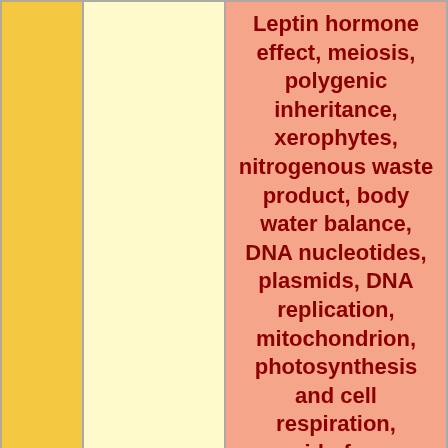Leptin hormone effect, meiosis, polygenic inheritance, xerophytes, nitrogenous waste product, body water balance, DNA nucleotides, plasmids, DNA replication, mitochondrion, photosynthesis and cell respiration, pyramid of energy, dicotyledonous seed, spermatogenesis and oogenesis, sexual reproduction, immune system, blood glucose levels)
|  |  | Questions | Answers |
| --- | --- | --- | --- |